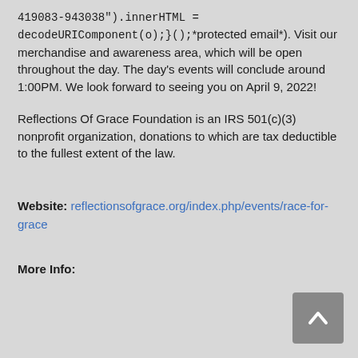419083-943038").innerHTML = decodeURIComponent(o);}();*protected email*). Visit our merchandise and awareness area, which will be open throughout the day. The day's events will conclude around 1:00PM. We look forward to seeing you on April 9, 2022!
Reflections Of Grace Foundation is an IRS 501(c)(3) nonprofit organization, donations to which are tax deductible to the fullest extent of the law.
Website: reflectionsofgrace.org/index.php/events/race-for-grace
More Info: